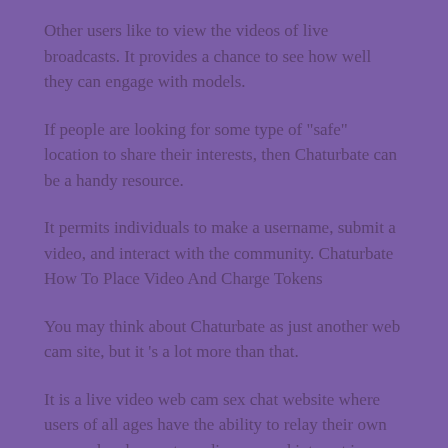Other users like to view the videos of live broadcasts. It provides a chance to see how well they can engage with models.
If people are looking for some type of "safe" location to share their interests, then Chaturbate can be a handy resource.
It permits individuals to make a username, submit a video, and interact with the community. Chaturbate How To Place Video And Charge Tokens
You may think about Chaturbate as just another web cam site, but it 's a lot more than that.
It is a live video web cam sex chat website where users of all ages have the ability to relay their own personal webcams to audiences, and interact in genuine time with strangers all over the world.
The category of Chaturbate audiences is pretty varied.